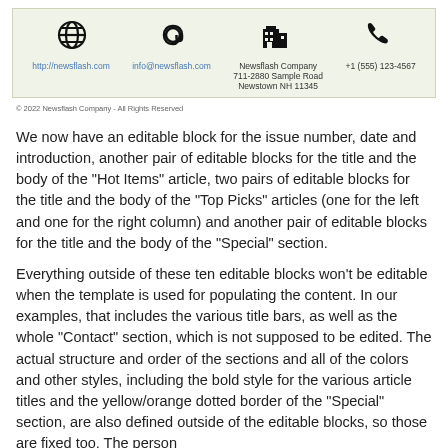[Figure (infographic): Contact section with light green background showing icons and contact details: website (http://newsflash.com), email (info@newsflash.com), address (Newsflash Company, 711-2880 Sample Road, Newstown NH 11345), phone (+1 (555) 123-4567)]
© 2022 Newsflash Company - All Rights Reserved
We now have an editable block for the issue number, date and introduction, another pair of editable blocks for the title and the body of the "Hot Items" article, two pairs of editable blocks for the title and the body of the "Top Picks" articles (one for the left and one for the right column) and another pair of editable blocks for the title and the body of the "Special" section.
Everything outside of these ten editable blocks won't be editable when the template is used for populating the content. In our examples, that includes the various title bars, as well as the whole "Contact" section, which is not supposed to be edited. The actual structure and order of the sections and all of the colors and other styles, including the bold style for the various article titles and the yellow/orange dotted border of the "Special" section, are also defined outside of the editable blocks, so those are fixed too. The person